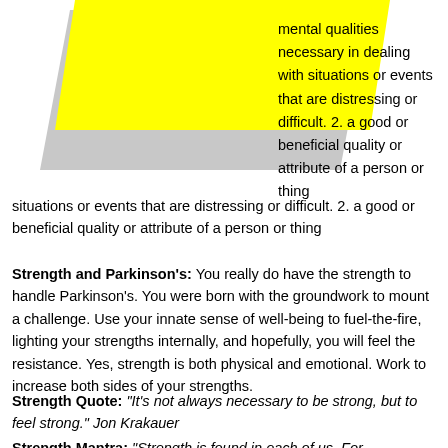[Figure (illustration): Decorative geometric shapes: a yellow rectangle overlapping a gray quadrilateral/parallelogram in the upper-left area of the page.]
mental qualities necessary in dealing with situations or events that are distressing or difficult. 2. a good or beneficial quality or attribute of a person or thing
Strength and Parkinson's: You really do have the strength to handle Parkinson's. You were born with the groundwork to mount a challenge.   Use your innate sense of well-being to fuel-the-fire, lighting your strengths internally, and hopefully, you will feel the resistance. Yes, strength is both physical and emotional. Work to increase both sides of your strengths.
Strength Quote: “It’s not always necessary to be strong, but to feel strong.” Jon Krakauer
Strength Mantra: “Strength is found in each of us.  For